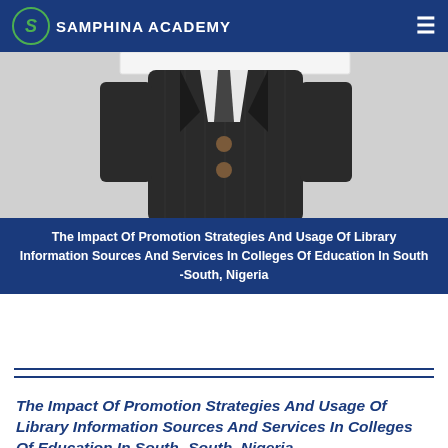SAMPHINA ACADEMY
[Figure (photo): Person in dark pinstripe suit jacket, visible from shoulders to waist, holding something at chest level, photographed from below on a white background.]
The Impact Of Promotion Strategies And Usage Of Library Information Sources And Services In Colleges Of Education In South -South, Nigeria
The Impact Of Promotion Strategies And Usage Of Library Information Sources And Services In Colleges Of Education In South -South, Nigeria